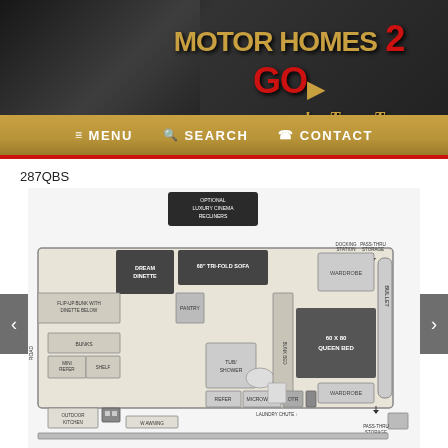[Figure (logo): Motor Homes 2 Go by TerryTown logo with motorhome image in background]
≡ MENU   🔍 SEARCH   ☎ CONTACT
287QBS
[Figure (schematic): Floor plan schematic of RV model 287QBS showing: Optional Luxury Cinema Recliners, Dream Dinette, 68 Tri-Fold Sofa, Docking Station, Pass-Thru Storage, Wardrobe (x2), Flip-Up Bunk with Dinette Below, Pantry, Bunk Beds, Mini Refer, Shelf, Bunks, Tub/Shower, Refer, Microwave, OTR, Laundry Chute, Queen Bed (60x80), Outdoor Kitchen, W Awning, Pass-Thru Storage, Road indicator]